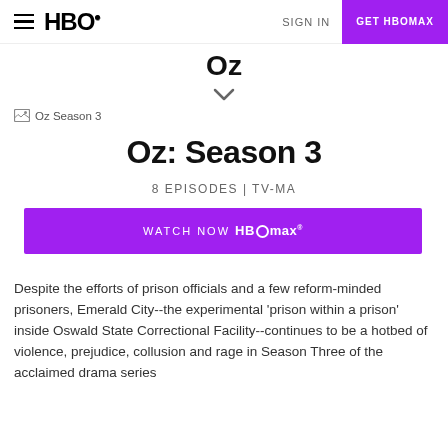HBO | SIGN IN | GET HBOMAX
Oz
[Figure (other): Chevron/dropdown arrow icon]
[Figure (photo): Oz Season 3 thumbnail image (broken/loading)]
Oz: Season 3
8 EPISODES | TV-MA
[Figure (other): WATCH NOW HBO Max purple button]
Despite the efforts of prison officials and a few reform-minded prisoners, Emerald City--the experimental 'prison within a prison' inside Oswald State Correctional Facility--continues to be a hotbed of violence, prejudice, collusion and rage in Season Three of the acclaimed drama series